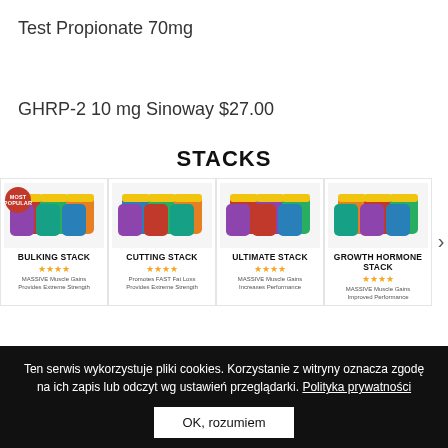Test Propionate 70mg
GHRP-2 10 mg Sinoway $27.00
STACKS
[Figure (other): Four supplement stack product cards: Bulking Stack (most popular badge), Cutting Stack, Ultimate Stack, Growth Hormone Stack — each with colorful supplement bottle images, star ratings, and brief descriptions. A right arrow indicates more items.]
Ten serwis wykorzystuje pliki cookies. Korzystanie z witryny oznacza zgodę na ich zapis lub odczyt wg ustawień przeglądarki. Polityka prywatności
OK, rozumiem